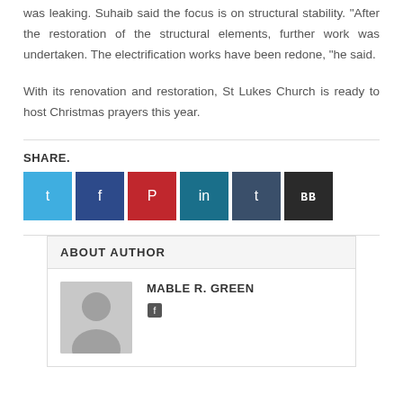was leaking. Suhaib said the focus is on structural stability. “After the restoration of the structural elements, further work was undertaken. The electrification works have been redone, “he said.
With its renovation and restoration, St Lukes Church is ready to host Christmas prayers this year.
SHARE.
[Figure (infographic): Six social media share buttons: Twitter (light blue), Facebook (dark blue), Pinterest (red), LinkedIn (teal), Tumblr (dark teal), and a more/share button (dark gray with BB icon).]
ABOUT AUTHOR
MABLE R. GREEN
[Figure (photo): Gray placeholder avatar silhouette of a person, used as author profile image.]